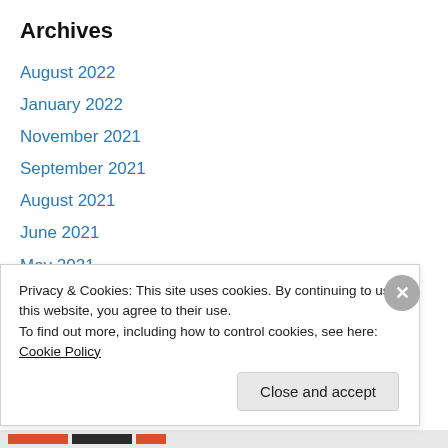Archives
August 2022
January 2022
November 2021
September 2021
August 2021
June 2021
May 2021
April 2021
February 2021
January 2021
December 2020
Privacy & Cookies: This site uses cookies. By continuing to use this website, you agree to their use.
To find out more, including how to control cookies, see here: Cookie Policy
Close and accept